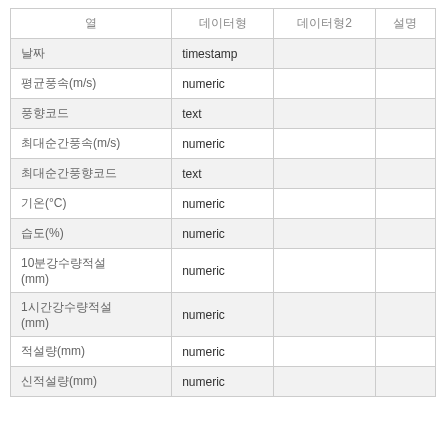| 열 | 데이터형 | 데이터형2 | 설명 |
| --- | --- | --- | --- |
| 날짜 | timestamp |  |  |
| 평균풍속(m/s) | numeric |  |  |
| 풍향코드 | text |  |  |
| 최대순간풍속(m/s) | numeric |  |  |
| 최대순간풍향코드 | text |  |  |
| 기온(°C) | numeric |  |  |
| 습도(%) | numeric |  |  |
| 10분강수량적설(mm) | numeric |  |  |
| 1시간강수량적설(mm) | numeric |  |  |
| 적설량(mm) | numeric |  |  |
| 신적설량(mm) | numeric |  |  |